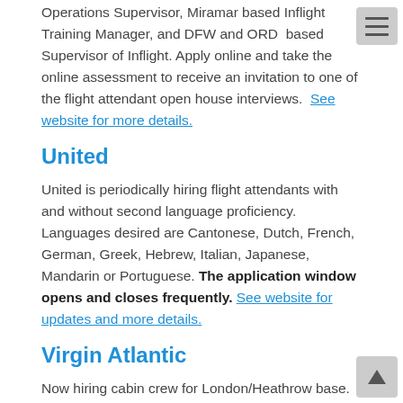Operations Supervisor, Miramar based Inflight Training Manager, and DFW and ORD based Supervisor of Inflight. Apply online and take the online assessment to receive an invitation to one of the flight attendant open house interviews. See website for more details.
United
United is periodically hiring flight attendants with and without second language proficiency. Languages desired are Cantonese, Dutch, French, German, Greek, Hebrew, Italian, Japanese, Mandarin or Portuguese. The application window opens and closes frequently. See website for updates and more details.
Virgin Atlantic
Now hiring cabin crew for London/Heathrow base. See website for updates.